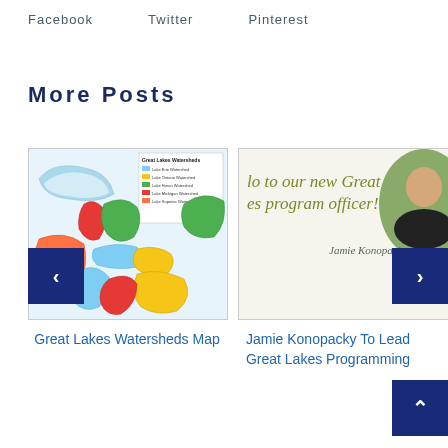Facebook   Twitter   Pinterest
More Posts
[Figure (map): Great Lakes Watersheds colorful map showing Lake Erie, Lake Ontario, Lake Huron, Lake Michigan, and Lake Superior watersheds in different colors with legend]
Great Lakes Watersheds Map
[Figure (infographic): Promotional graphic with text 'Welcome to our new Great Lakes program officer! Jamie Konopacky' with photo of a woman]
Jamie Konopacky To Lead Great Lakes Programming